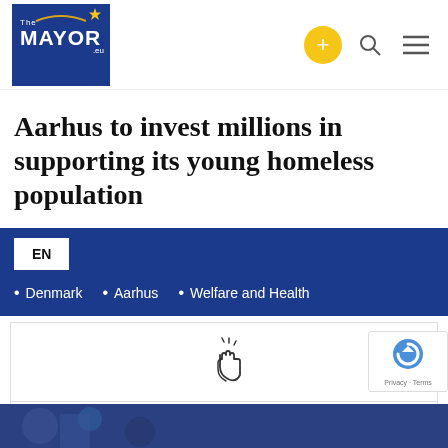[Figure (logo): The Mayor .eu logo — dark blue background with white text and a yellow star, with an arc motif above]
Aarhus to invest millions in supporting its young homeless population
EN
• Denmark   • Aarhus   • Welfare and Health
[Figure (other): Clapping hands icon (emoji-style line art)]
Share:
[Figure (other): Social share buttons: Facebook (f), Twitter bird, LinkedIn (in) — circular colored buttons]
[Figure (other): reCAPTCHA badge with Privacy and Terms text]
[Figure (photo): Bottom strip showing a partial outdoor/crowd photo in blue tones]